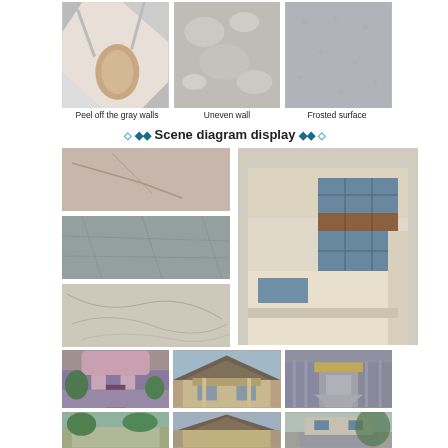[Figure (photo): Three close-up photos: hand peeling gray wall, uneven wall surface, frosted surface]
Peel off the gray walls    Uneven wall    Frosted surface
◆◆◆ Scene diagram display ◆◆◆
[Figure (photo): Three small photos of stone/slate texture panels (pinkish-gray cracked, gray textured, light beige veined) on the left; large building facade photo on the right showing modern multi-story building with glass windows and beige stone cladding]
[Figure (photo): Bottom row of three building photos: colorful ornate house, traditional Chinese-style house, modern gateway/entrance building]
[Figure (photo): Very bottom partial row of building photos]